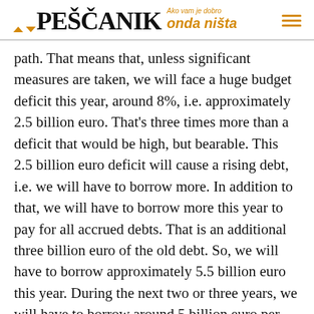PEŠCANIK — Ako vam je dobro onda ništa
path. That means that, unless significant measures are taken, we will face a huge budget deficit this year, around 8%, i.e. approximately 2.5 billion euro. That's three times more than a deficit that would be high, but bearable. This 2.5 billion euro deficit will cause a rising debt, i.e. we will have to borrow more. In addition to that, we will have to borrow more this year to pay for all accrued debts. That is an additional three billion euro of the old debt. So, we will have to borrow approximately 5.5 billion euro this year. During the next two or three years, we will have to borrow around 5 billion euro per year in order to pay for the old debt and pay for the deficit which will definitely last three or four more